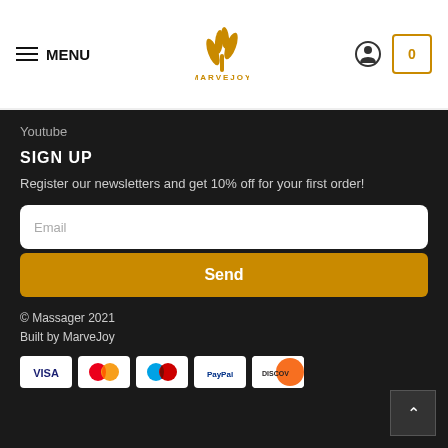MENU | MARVEJOY logo | user icon | cart 0
Youtube
SIGN UP
Register our newsletters and get 10% off for your first order!
Email
Send
© Massager 2021
Built by MarveJoy
[Figure (other): Payment method icons: VISA, Mastercard, Maestro, PayPal, Discover]